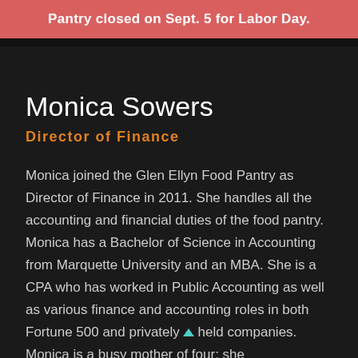Pantry closed on Sept. 5 for Labor Day.
Monica Sowers
Director of Finance
Monica joined the Glen Ellyn Food Pantry as Director of Finance in 2011. She handles all the accounting and financial duties of the food pantry. Monica has a Bachelor of Science in Accounting from Marquette University and an MBA. She is a CPA who has worked in Public Accounting as well as various finance and accounting roles in both Fortune 500 and privately held companies. Monica is a busy mother of four; she